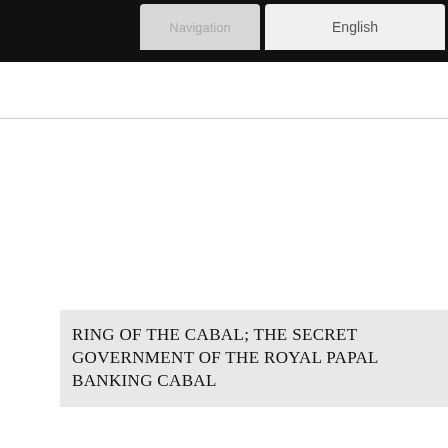Navigation  English
RING OF THE CABAL; THE SECRET GOVERNMENT OF THE ROYAL PAPAL BANKING CABAL